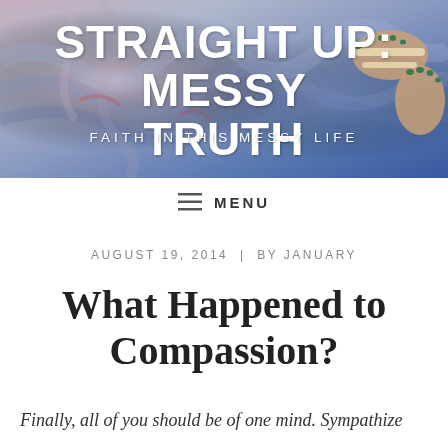[Figure (illustration): Blog header banner with impressionistic painted background in blues, purples and pinks, showing feet in sandals with green toenails in the upper right corner]
STRAIGHT UP: MESSY TRUTH
FAITH IN THIS MESSY LIFE
≡  MENU
AUGUST 19, 2014  |  BY JANUARY
What Happened to Compassion?
Finally, all of you should be of one mind. Sympathize